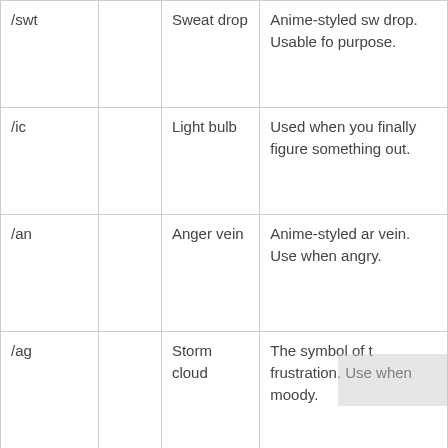| Command |  | Name | Description |
| --- | --- | --- | --- |
| /swt |  | Sweat drop | Anime-styled sweat drop. Usable for any purpose. |
| /ic |  | Light bulb | Used when you finally figure something out. |
| /an |  | Anger vein | Anime-styled anger vein. Use when angry. |
| /ag |  | Storm cloud | The symbol of frustration. Use when moody. |
| /$ |  | Dollar sign | Use when you've just gained a lot of money, or going to get a lot of it. |
|  |  |  |  |